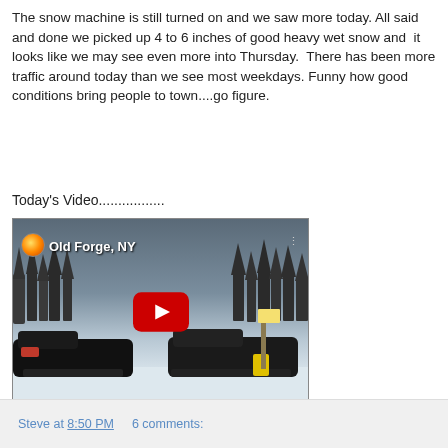The snow machine is still turned on and we saw more today. All said and done we picked up 4 to 6 inches of good heavy wet snow and  it looks like we may see even more into Thursday.  There has been more traffic around today than we see most weekdays. Funny how good conditions bring people to town....go figure.
Today's Video.................
[Figure (screenshot): YouTube video thumbnail showing snowmobiles parked in snow outdoors. Title overlay reads 'Old Forge, NY'. A red YouTube play button is centered in the frame.]
Steve at 8:50 PM    6 comments: